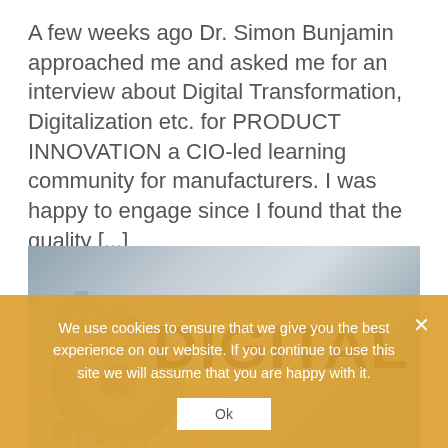A few weeks ago Dr. Simon Bunjamin approached me and asked me for an interview about Digital Transformation, Digitalization etc. for PRODUCT INNOVATION a CIO-led learning community for manufacturers. I was happy to engage since I found that the quality [...]
[Figure (photo): Close-up photo of interlocking gears with the word DIGITAL printed on a metallic surface, in black and white tones with blue-tinted gear teeth]
We use cookies to ensure that we give you the best experience on our website. If you continue to use this site we will assume that you are happy with it.